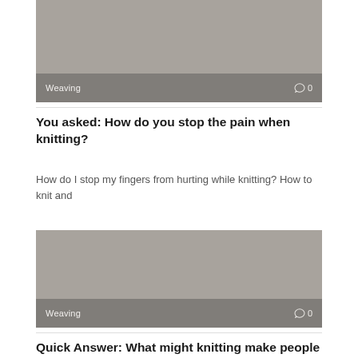[Figure (photo): Gray placeholder image with Weaving label and comment count 0 at bottom]
You asked: How do you stop the pain when knitting?
How do I stop my fingers from hurting while knitting? How to knit and
[Figure (photo): Gray placeholder image with Weaving label and comment count 0 at bottom]
Quick Answer: What might knitting make people think of?